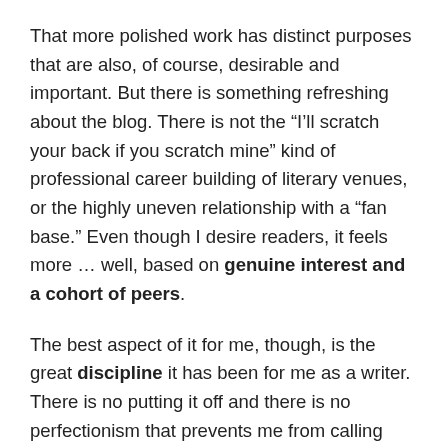That more polished work has distinct purposes that are also, of course, desirable and important. But there is something refreshing about the blog. There is not the “I’ll scratch your back if you scratch mine” kind of professional career building of literary venues, or the highly uneven relationship with a “fan base.” Even though I desire readers, it feels more … well, based on genuine interest and a cohort of peers.
The best aspect of it for me, though, is the great discipline it has been for me as a writer. There is no putting it off and there is no perfectionism that prevents me from calling something ready. What that means is that as of this date, I have produced close to 200 pages or 50,000 words for the blog (including notes for forthcoming posts). If you’ve read it, you know that it’s been a process of